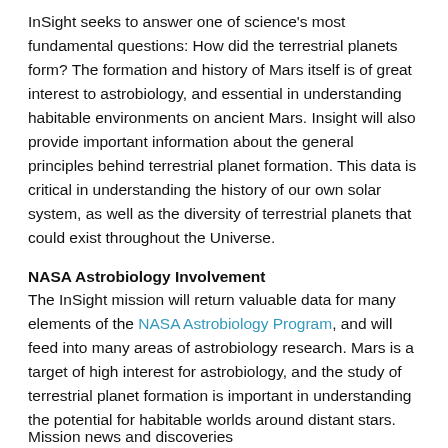InSight seeks to answer one of science's most fundamental questions: How did the terrestrial planets form? The formation and history of Mars itself is of great interest to astrobiology, and essential in understanding habitable environments on ancient Mars. Insight will also provide important information about the general principles behind terrestrial planet formation. This data is critical in understanding the history of our own solar system, as well as the diversity of terrestrial planets that could exist throughout the Universe.
NASA Astrobiology Involvement
The InSight mission will return valuable data for many elements of the NASA Astrobiology Program, and will feed into many areas of astrobiology research. Mars is a target of high interest for astrobiology, and the study of terrestrial planet formation is important in understanding the potential for habitable worlds around distant stars.
Mission news and discoveries